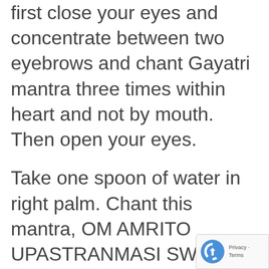first close your eyes and concentrate between two eyebrows and chant Gayatri mantra three times within heart and not by mouth. Then open your eyes.
Take one spoon of water in right palm. Chant this mantra, OM AMRITO UPASTRANMASI SWAHA and drink the water which you have put in your palm. Then aga take the spoon of water in right